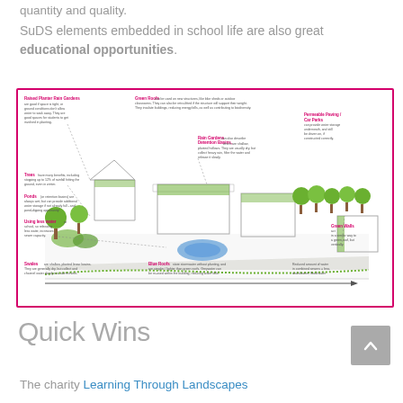quantity and quality.
SuDS elements embedded in school life are also great educational opportunities.
[Figure (infographic): Illustrated diagram showing various SuDS (Sustainable Drainage Systems) elements that can be embedded in school grounds, including Raised Planter Rain Gardens, Green Roofs, Permeable Paving/Car Parks, Rain Gardens/Detention Basins, Trees, Ponds, Swales, Blue Roofs, Green Walls, and guidance on using less water. Features annotated illustrations of school buildings with green infrastructure.]
Quick Wins
The charity Learning Through Landscapes